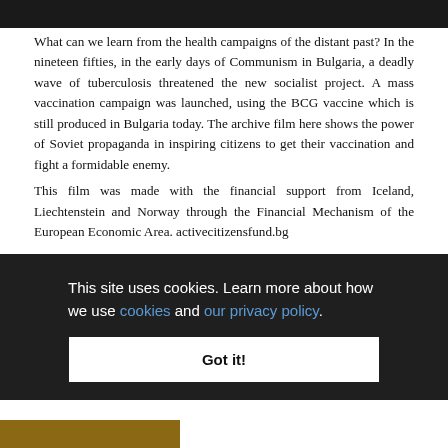[Figure (photo): Dark image at top of page, partially visible]
What can we learn from the health campaigns of the distant past? In the nineteen fifties, in the early days of Communism in Bulgaria, a deadly wave of tuberculosis threatened the new socialist project. A mass vaccination campaign was launched, using the BCG vaccine which is still produced in Bulgaria today. The archive film here shows the power of Soviet propaganda in inspiring citizens to get their vaccination and fight a formidable enemy.
This film was made with the financial support from Iceland, Liechtenstein and Norway through the Financial Mechanism of the European Economic Area. activecitizensfund.bg
This site uses cookies. Learn more about how we use cookies and our privacy policy.
Got it!
[Figure (photo): Partial image visible at bottom of page]